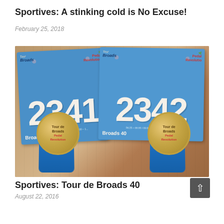Sportives: A stinking cold is No Excuse!
February 25, 2018
[Figure (photo): Two Tour de Broads cycling race bibs numbered 2341 and 2342 (Broads 40 category) with two gold medals on blue ribbons placed on a wooden surface. Pedal Revolution sponsor logos visible on bibs.]
Sportives: Tour de Broads 40
August 22, 2016